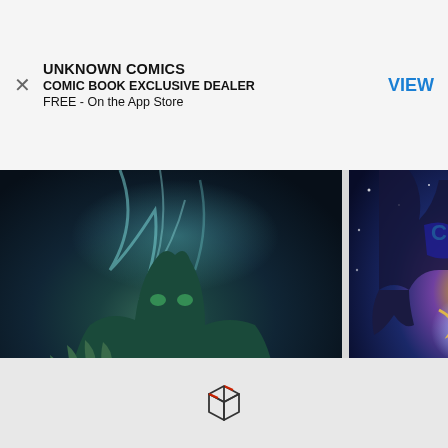UNKNOWN COMICS
COMIC BOOK EXCLUSIVE DEALER
FREE - On the App Store
VIEW
[Figure (photo): Comic book cover artwork showing a large green creature (Hulk) with massive hands in dark teal tones]
MARVEL COMICS
(DF) IMMORTAL HULK #7 (10/10/2018)
$15
[Figure (photo): Comic book cover artwork showing a figure in space with energy effects in blue and gold tones]
MARVEL COMICS
(DF) GUARDIANS OF #1 PAREL VAR 1:25
$10.50  $15
[Figure (illustration): Box/package icon outline in dark color]